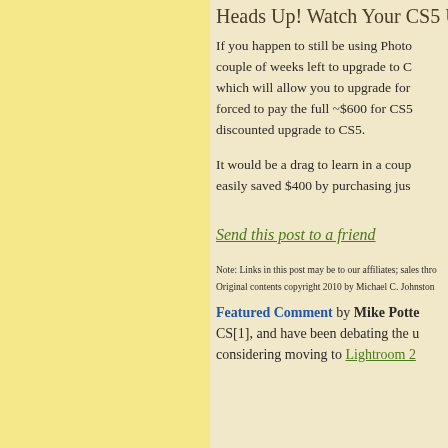Heads Up! Watch Your CS5 Up...
If you happen to still be using Photo... couple of weeks left to upgrade to C... which will allow you to upgrade for ... forced to pay the full ~$600 for CS5... discounted upgrade to CS5.
It would be a drag to learn in a coup... easily saved $400 by purchasing jus...
Send this post to a friend
Note: Links in this post may be to our affiliates; sales thro...
Original contents copyright 2010 by Michael C. Johnston...
Featured Comment by Mike Potte... CS[1], and have been debating the u... considering moving to Lightroom 2...